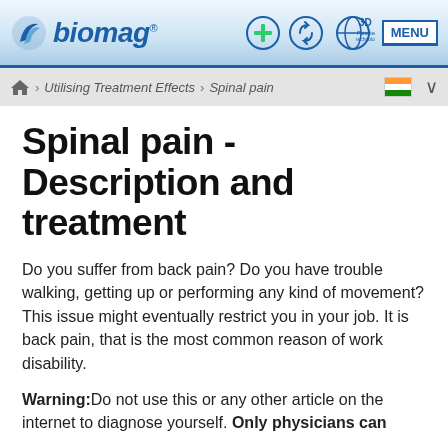biomag
> Utilising Treatment Effects > Spinal pain
Spinal pain - Description and treatment
Do you suffer from back pain? Do you have trouble walking, getting up or performing any kind of movement? This issue might eventually restrict you in your job. It is back pain, that is the most common reason of work disability.
Warning:Do not use this or any other article on the internet to diagnose yourself. Only physicians can